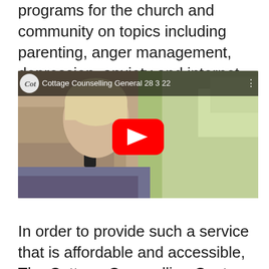programs for the church and community on topics including parenting, anger management, depression, anxiety and internet pornography.
[Figure (screenshot): YouTube video thumbnail showing a woman talking on a phone, with title 'Cottage Counselling General 28 3 22']
In order to provide such a service that is affordable and accessible, The Cottage Counselling Centre has been the one of